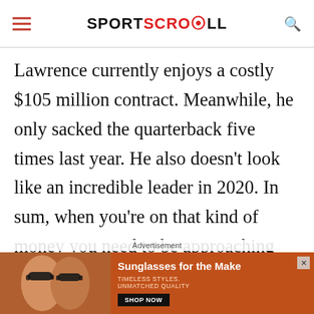SPORTSCROLL
Lawrence currently enjoys a costly $105 million contract. Meanwhile, he only sacked the quarterback five times last year. He also doesn't look like an incredible leader in 2020. In sum, when you're on that kind of money you need to be approaching All-Pro form. But Lawrence definitely isn't. Of course, the
Advertisement
[Figure (photo): Advertisement banner showing two women wearing sunglasses with text 'Sunglasses for the Make' and 'TIMELESS STYLES. UNMATCHED QUALITY' with a SHOP NOW button]